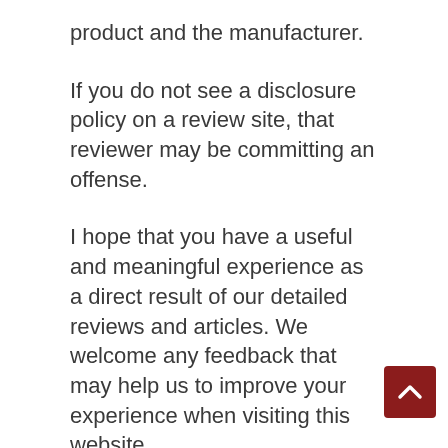product and the manufacturer.
If you do not see a disclosure policy on a review site, that reviewer may be committing an offense.
I hope that you have a useful and meaningful experience as a direct result of our detailed reviews and articles. We welcome any feedback that may help us to improve your experience when visiting this website.
Our website makes no representations, warranties, or assurances as to the accuracy, currency or completeness of the content contain on this website or any sites linked to